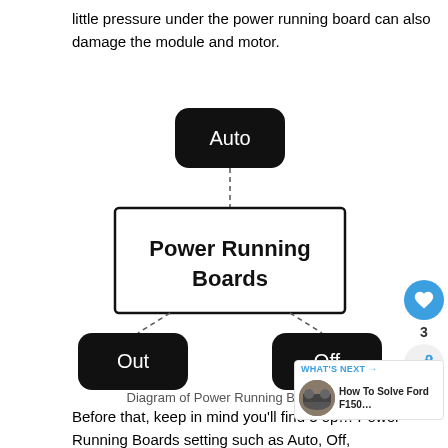little pressure under the power running board can also damage the module and motor.
[Figure (flowchart): Diagram showing Power Running Boards with three states: Auto (top, connected by dashed line), Out (bottom-left, connected by dashed line), Off (bottom-right, connected by dashed line)]
Diagram of Power Running Boards setting
Before that, keep in mind you'll find 3 op... Power Running Boards setting such as Auto, Off,